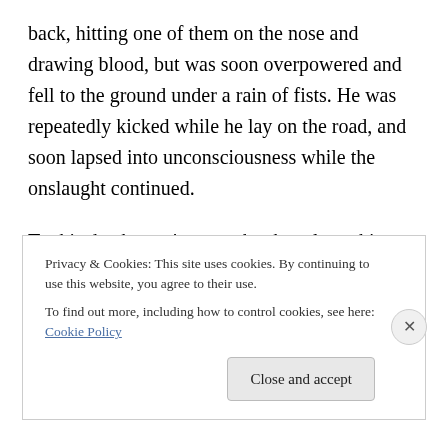back, hitting one of them on the nose and drawing blood, but was soon overpowered and fell to the ground under a rain of fists. He was repeatedly kicked while he lay on the road, and soon lapsed into unconsciousness while the onslaught continued.
To this day he can't remember how long this went on for, nor can he remember anything at all about the people who eventually came to his assistance. But he can remember the word that was being shouted continually as he was systematically beaten. The word was FAGGOT.
Privacy & Cookies: This site uses cookies. By continuing to use this website, you agree to their use.
To find out more, including how to control cookies, see here: Cookie Policy